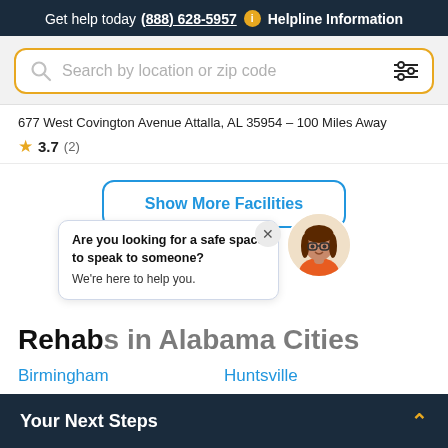Get help today (888) 628-5957  i  Helpline Information
Search by location or zip code
677 West Covington Avenue Attalla, AL 35954 – 100 Miles Away
3.7 (2)
Show More Facilities
Are you looking for a safe space to speak to someone? We're here to help you.
Rehabs in Alabama Cities
Birmingham
Huntsville
Your Next Steps